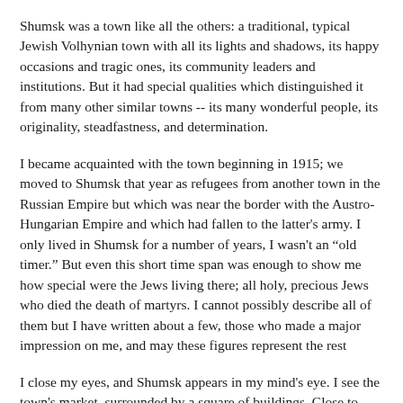Shumsk was a town like all the others: a traditional, typical Jewish Volhynian town with all its lights and shadows, its happy occasions and tragic ones, its community leaders and institutions. But it had special qualities which distinguished it from many other similar towns -- its many wonderful people, its originality, steadfastness, and determination.
I became acquainted with the town beginning in 1915; we moved to Shumsk that year as refugees from another town in the Russian Empire but which was near the border with the Austro-Hungarian Empire and which had fallen to the latter's army. I only lived in Shumsk for a number of years, I wasn't an “old timer.” But even this short time span was enough to show me how special were the Jews living there; all holy, precious Jews who died the death of martyrs. I cannot possibly describe all of them but I have written about a few, those who made a major impression on me, and may these figures represent the rest
I close my eyes, and Shumsk appears in my mind's eye. I see the town's market, surrounded by a square of buildings. Close to them are the homes of Shumsk's poor, filled with Jews who worked hard to earn their livelihood. In my mind's eye I also see Shumsk's youths, who work with dedication and enthusiasm for Eretz Israel